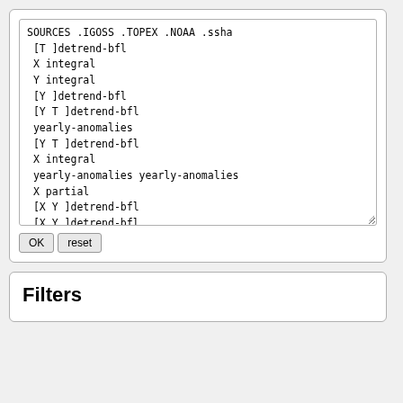SOURCES .IGOSS .TOPEX .NOAA .ssha
 [T ]detrend-bfl
 X integral
 Y integral
 [Y ]detrend-bfl
 [Y T ]detrend-bfl
 yearly-anomalies
 [Y T ]detrend-bfl
 X integral
 yearly-anomalies yearly-anomalies
 X partial
 [X Y ]detrend-bfl
 [X Y ]detrend-bfl
 X partial
 yearly-anomalies
 Y integral
OK  reset
Filters